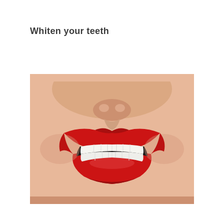Whiten your teeth
[Figure (photo): Close-up photograph of a woman smiling with bright white teeth and red lipstick, showing the lower part of her nose, upper lip, and a wide smile revealing a full set of white upper and lower teeth.]